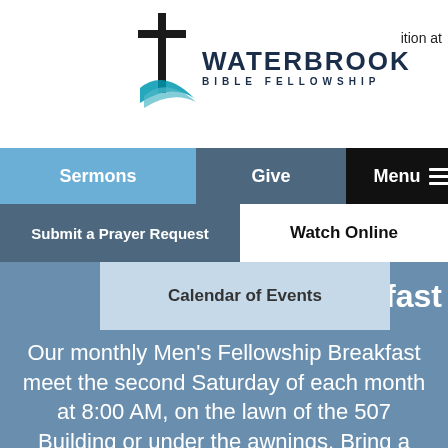[Figure (logo): Waterbrook Bible Fellowship logo with cross and swoosh]
ition at
Sermons
Give
Menu
Submit a Prayer Request
Watch Online
Calendar of Events
kfast
Our monthly Men's Fellowship Breakfast meet the second Saturday of each month at 8:00 AM, on the lawn of the 507 Building or under the awnings. Bring a lawn chair,